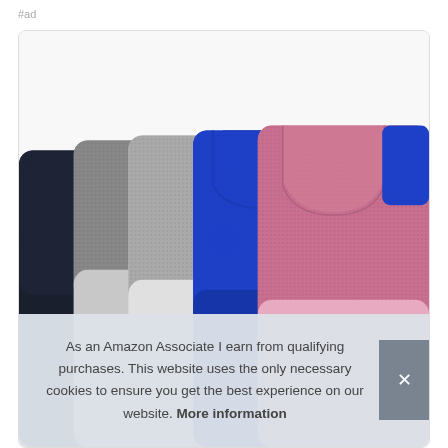#ad
[Figure (photo): Five silicone phone card holder wallets arranged overlapping from left to right in colors: navy/black, gray, light gray/white, blue, pink with textured top portion visible showing card slot cutouts]
As an Amazon Associate I earn from qualifying purchases. This website uses the only necessary cookies to ensure you get the best experience on our website. More information